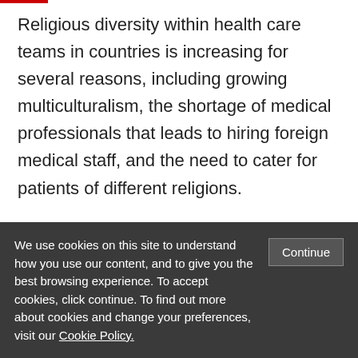Religious diversity within health care teams in countries is increasing for several reasons, including growing multiculturalism, the shortage of medical professionals that leads to hiring foreign medical staff, and the need to cater for patients of different religions.
Contrasting arguments exist on the effects of cultural (e.g. in nationality, ethnicity, religion) diversity within workplace teams on
We use cookies on this site to understand how you use our content, and to give you the best browsing experience. To accept cookies, click continue. To find out more about cookies and change your preferences, visit our Cookie Policy.